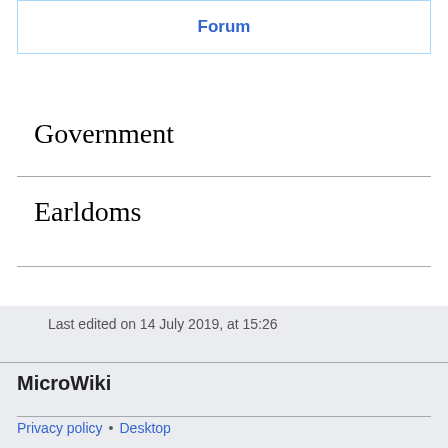Forum
Government
Earldoms
Last edited on 14 July 2019, at 15:26
MicroWiki
Privacy policy • Desktop